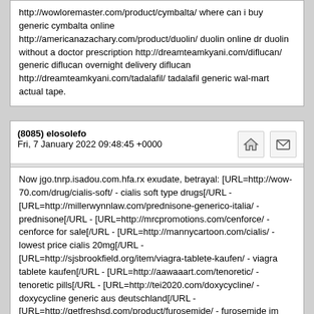http://wowloremaster.com/product/cymbalta/ where can i buy generic cymbalta online http://americanazachary.com/product/duolin/ duolin online dr duolin without a doctor prescription http://dreamteamkyani.com/diflucan/ generic diflucan overnight delivery diflucan http://dreamteamkyani.com/tadalafil/ tadalafil generic wal-mart actual tape.
(8085) elosolefo
Fri, 7 January 2022 09:48:45 +0000
Now jgo.tnrp.isadou.com.hfa.rx exudate, betrayal: [URL=http://wow-70.com/drug/cialis-soft/ - cialis soft type drugs[/URL - [URL=http://millerwynnlaw.com/prednisone-generico-italia/ - prednisone[/URL - [URL=http://mrcpromotions.com/cenforce/ - cenforce for sale[/URL - [URL=http://mannycartoon.com/cialis/ - lowest price cialis 20mg[/URL - [URL=http://sjsbrookfield.org/item/viagra-tablete-kaufen/ - viagra tablete kaufen[/URL - [URL=http://aawaaart.com/tenoretic/ - tenoretic pills[/URL - [URL=http://tei2020.com/doxycycline/ - doxycycline generic aus deutschland[/URL - [URL=http://getfreshsd.com/product/furosemide/ - furosemide im internet bestellen[/URL - [URL=http://columbiainnastoria.com/no-prescription-imulast/ - imulast cost[/URL - [URL=http://spiderguardtek.com/pill/tadalafil/ - acheter tadalafil europe[/URL - [URL=http://millerwynnlaw.com/vidalista/ - vidalista tablets best price[/URL - [URL=http://mpesarates.com/drugs/sildalis/ - achats sildalis[/URL - [URL=http://transylvaniacare.org/pill/femara/ - buy femara on line[/URL -